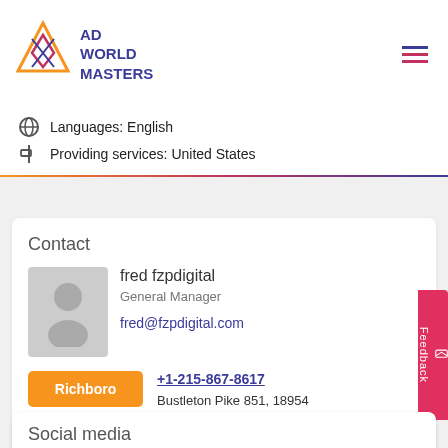[Figure (logo): Ad World Masters logo with triangle/diamond geometric shape in pink/orange and purple, company name in dark blue]
Languages: English
Providing services: United States
Contact
fred fzpdigital
General Manager
fred@fzpdigital.com
Richboro
Philadelphia
+1-215-867-8617
Bustleton Pike 851, 18954
Richboro, United States
See on Google Maps
Social media